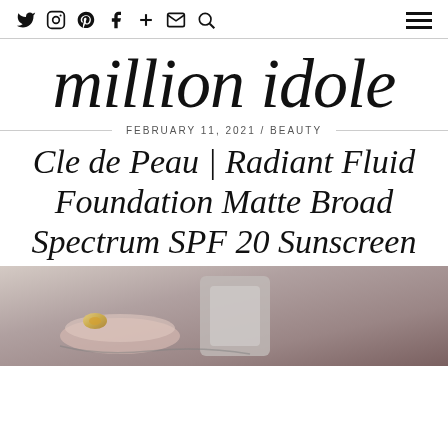Social icons: Twitter, Instagram, Pinterest, Facebook, Plus, Email, Search | Hamburger menu
million idole
FEBRUARY 11, 2021 / BEAUTY
Cle de Peau | Radiant Fluid Foundation Matte Broad Spectrum SPF 20 Sunscreen
[Figure (photo): Close-up photo of hands holding a Cle de Peau foundation product with a gold butterfly ring visible]